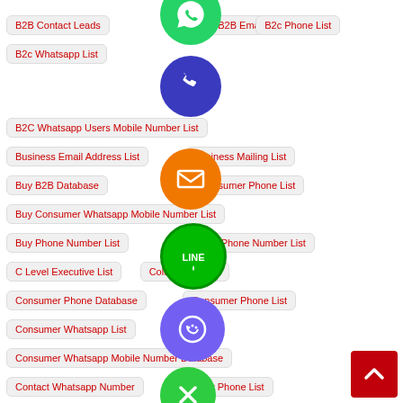B2B Contact Leads
B2B Email List
B2c Phone List
B2c Whatsapp List
B2C Whatsapp Users Mobile Number List
Business Email Address List
Business Mailing List
Buy B2B Database
Buy Consumer Phone List
Buy Consumer Whatsapp Mobile Number List
Buy Phone Number List
Buy Phone Number List
C Level Executive List
Cold Calling List
Consumer Phone Database
Consumer Phone List
Consumer Whatsapp List
Consumer Whatsapp Mobile Number Database
Contact Whatsapp Number
Country Phone List